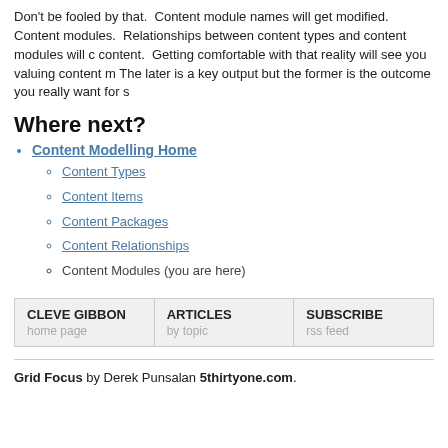Don't be fooled by that. Content module names will get modified. Content modules. Relationships between content types and content modules will content. Getting comfortable with that reality will see you valuing content m The later is a key output but the former is the outcome you really want for s
Where next?
Content Modelling Home
Content Types
Content Items
Content Packages
Content Relationships
Content Modules (you are here)
| CLEVE GIBBON | ARTICLES | SUBSCRIBE |
| --- | --- | --- |
| home page | by topic | rss feed |
Grid Focus by Derek Punsalan 5thirtyone.com.